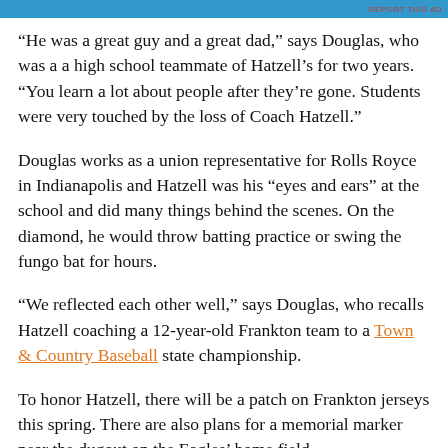REPORT THIS AD
“He was a great guy and a great dad,” says Douglas, who was a a high school teammate of Hatzell’s for two years. “You learn a lot about people after they’re gone. Students were very touched by the loss of Coach Hatzell.”
Douglas works as a union representative for Rolls Royce in Indianapolis and Hatzell was his “eyes and ears” at the school and did many things behind the scenes. On the diamond, he would throw batting practice or swing the fungo bat for hours.
“We reflected each other well,” says Douglas, who recalls Hatzell coaching a 12-year-old Frankton team to a Town & Country Baseball state championship.
To honor Hatzell, there will be a patch on Frankton jerseys this spring. There are also plans for a memorial marker near the dugout on the Eagles’ home field.